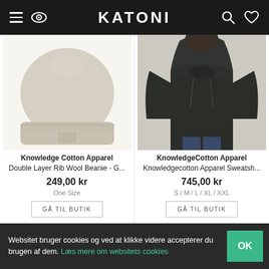KATONI
[Figure (photo): Beige/oatmeal double layer rib wool beanie hat on white background]
Knowledge Cotton Apparel
Double Layer Rib Wool Beanie - G...
249,00 kr
One Size
[Figure (photo): Person wearing dark olive/black hoodie sweatshirt, view from behind]
KnowledgeCotton Apparel
Knowledgecotton Apparel Sweatsh...
745,00 kr
S / M / L / XL / XXL
Websitet bruger cookies og ved at klikke videre accepterer du brugen af dem. Læs mere om websitets cookies